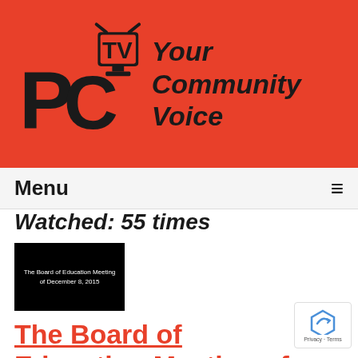[Figure (logo): PCTV logo with text 'Your Community Voice' on red background]
Menu
Watched: 55 times
[Figure (screenshot): Black thumbnail image with white text reading 'The Board of Education Meeting of December 8, 2015']
The Board of Education Meeting of 12-08-15
Airdate: 12/08/2015